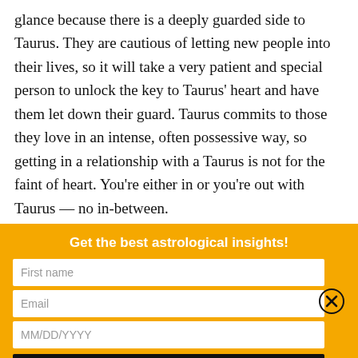glance because there is a deeply guarded side to Taurus. They are cautious of letting new people into their lives, so it will take a very patient and special person to unlock the key to Taurus' heart and have them let down their guard. Taurus commits to those they love in an intense, often possessive way, so getting in a relationship with a Taurus is not for the faint of heart. You're either in or you're out with Taurus — no in-between.
[Figure (other): Newsletter signup banner with orange/yellow background. Contains bold white text 'Get the best astrological insights!', three input fields (First name, Email, MM/DD/YYYY), a black SUBSCRIBE button, and a close (X) button on the right.]